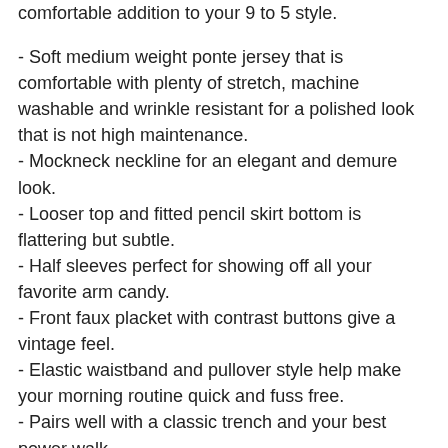comfortable addition to your 9 to 5 style.
- Soft medium weight ponte jersey that is comfortable with plenty of stretch, machine washable and wrinkle resistant for a polished look that is not high maintenance.
- Mockneck neckline for an elegant and demure look.
- Looser top and fitted pencil skirt bottom is flattering but subtle.
- Half sleeves perfect for showing off all your favorite arm candy.
- Front faux placket with contrast buttons give a vintage feel.
- Elastic waistband and pullover style help make your morning routine quick and fuss free.
- Pairs well with a classic trench and your best power walk.
Composition: 65% Rayon, 30% Nylon, 5% Spandex
Care: Machine wash cool, hang to dry, low iron or